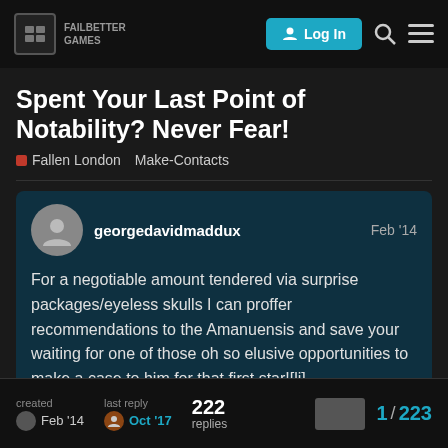Failbetter Games — Log In
Spent Your Last Point of Notability? Never Fear!
Fallen London   Make-Contacts
georgedavidmaddux   Feb '14
For a negotiable amount tendered via surprise packages/eyeless skulls I can proffer recommendations to the Amanuensis and save your waiting for one of those oh so elusive opportunities to make a case to him for that first star![li]
created Feb '14   last reply Oct '17   222 replies   1 / 223